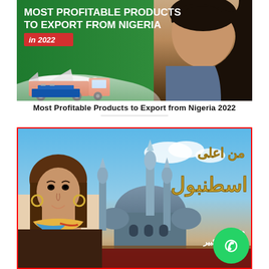[Figure (infographic): Promotional banner for 'Most Profitable Products to Export from Nigeria in 2022' showing a smiling Black woman on right, transport vehicles (airplane, truck) on left, against a green background with red badge for '2022']
Most Profitable Products to Export from Nigeria 2022
[Figure (infographic): Arabic language promotional image with text 'من اعلى اسطنبول' and 'متحف جاملجا الكبير' showing a woman on left, mosque/Istanbul skyline in background, WhatsApp button on bottom right, red border around image]